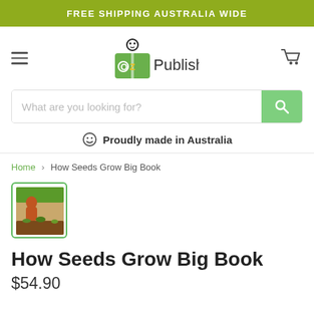FREE SHIPPING AUSTRALIA WIDE
[Figure (logo): OZ Publishing logo with a cartoon figure reading a green book, and the text 'OZ Publishing']
What are you looking for?
☺ Proudly made in Australia
Home › How Seeds Grow Big Book
[Figure (photo): Small thumbnail image of the 'How Seeds Grow Big Book' book cover]
How Seeds Grow Big Book
$54.90